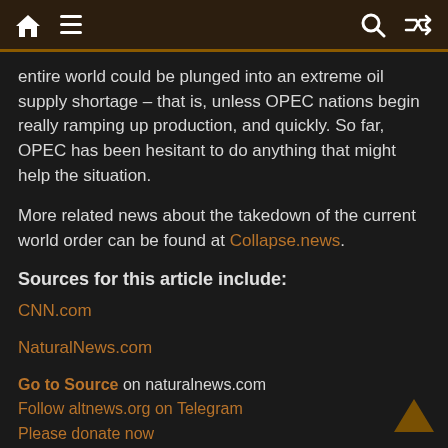[Navigation bar with home, menu, search, shuffle icons]
entire world could be plunged into an extreme oil supply shortage – that is, unless OPEC nations begin really ramping up production, and quickly. So far, OPEC has been hesitant to do anything that might help the situation.
More related news about the takedown of the current world order can be found at Collapse.news.
Sources for this article include:
CNN.com
NaturalNews.com
Go to Source on naturalnews.com
Follow altnews.org on Telegram
Please donate now